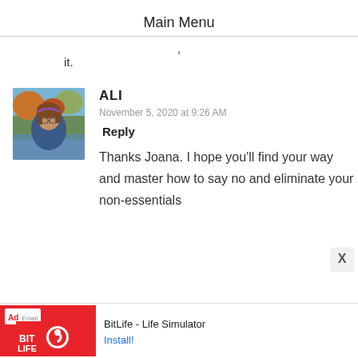Main Menu
it.
[Figure (photo): Profile photo of a young woman with glasses, short brown hair, outdoors near a lake with trees in the background.]
ALI
November 5, 2020 at 9:26 AM
Reply
Thanks Joana. I hope you'll find your way and master how to say no and eliminate your non-essentials
[Figure (screenshot): Advertisement banner for BitLife - Life Simulator app with red background and install button.]